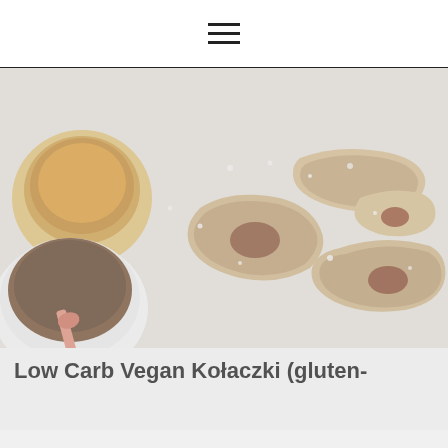☰
[Figure (photo): Overhead food photo showing low carb vegan Kołaczki pastries dusted with powdered sugar, along with bowls of jam/filling, on a white surface]
Low Carb Vegan Kołaczki (gluten-
Don't Miss Out!
Sign up to receive our monthly email, and get new recipes sent directly to your inbox!
Enter your Email
I agree to receive Meat Free Keto's newsletter containing news, updates, and promotions regarding Meat Free Keto's products. You can withdraw your consent at any time.
Sign me up!